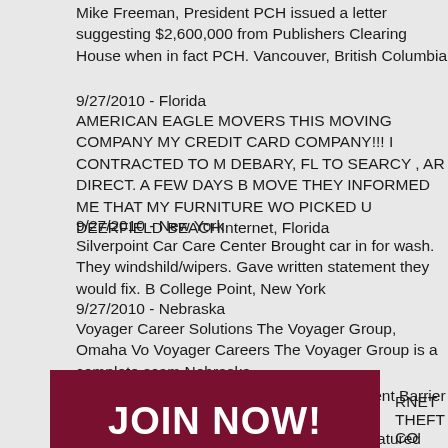Mike Freeman, President PCH issued a letter suggesting $2,600,000 from Publishers Clearing House when in fact PCH. Vancouver, British Columbia
9/27/2010 - Florida
AMERICAN EAGLE MOVERS THIS MOVING COMPANY MY CREDIT CARD COMPANY!!! I CONTRACTED TO M DEBARY, FL TO SEARCY , AR DIRECT. A FEW DAYS B MOVE THEY INFORMED ME THAT MY FURNITURE WO PICKED U DEERFIELD BEACHInternet, Florida
9/27/2010 - New York
Silverpoint Car Care Center Brought car in for wash. They windshild/wipers. Gave written statement they would fix. B College Point, New York
9/27/2010 - Nebraska
Voyager Career Solutions The Voyager Group, Omaha Vo Voyager Careers The Voyager Group is a complete scam Nebraska
9/27/2010 - North Carolina
Urban Renewal Development SCAM - Radient Barrier Ch Carolina
9/27/2010 - California
[Figure (other): Dark red JOIN NOW! banner advertisement]
RNET THEFT CO
You could be contacted by the media and featured next!